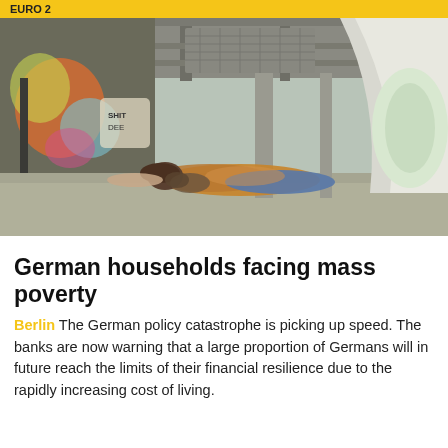EURO 2
[Figure (photo): A homeless person lying on the ground under a bridge or underpass, surrounded by graffiti-covered walls. The person is wrapped in blankets and appears to be sleeping on a concrete floor. The background shows urban infrastructure with arched supports and colorful graffiti artwork.]
German households facing mass poverty
Berlin The German policy catastrophe is picking up speed. The banks are now warning that a large proportion of Germans will in future reach the limits of their financial resilience due to the rapidly increasing cost of living.